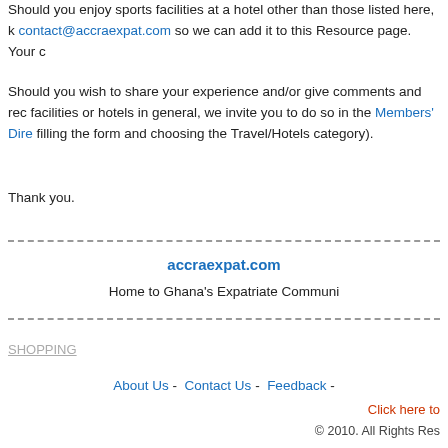Should you enjoy sports facilities at a hotel other than those listed here, k contact@accraexpat.com so we can add it to this Resource page. Your c
Should you wish to share your experience and/or give comments and rec facilities or hotels in general, we invite you to do so in the Members' Dire filling the form and choosing the Travel/Hotels category).
Thank you.
accraexpat.com
Home to Ghana's Expatriate Communi
SHOPPING
About Us - Contact Us - Feedback -
Click here to
© 2010. All Rights Res